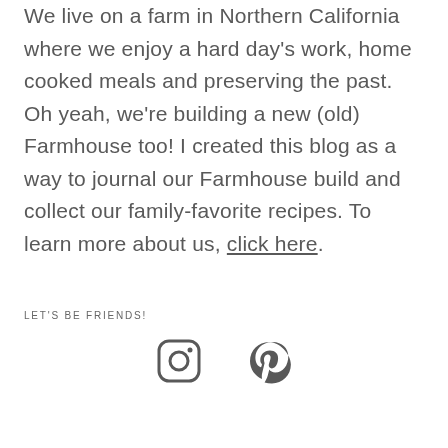We live on a farm in Northern California where we enjoy a hard day's work, home cooked meals and preserving the past. Oh yeah, we're building a new (old) Farmhouse too! I created this blog as a way to journal our Farmhouse build and collect our family-favorite recipes. To learn more about us, click here.
LET'S BE FRIENDS!
[Figure (other): Instagram and Pinterest social media icons]